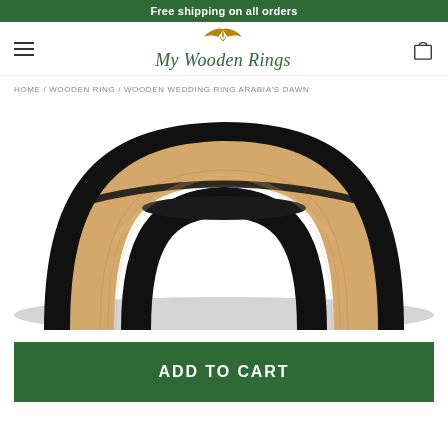Free shipping on all orders
[Figure (logo): My Wooden Rings logo with bird icon above italic script text]
HOME / WOODEN RING / WOODEN WEDDING RING ARABIA'S DAWN
[Figure (photo): Close-up of a wooden wedding ring with light wood exterior and black inner band, photographed from above at an angle]
ADD TO CART